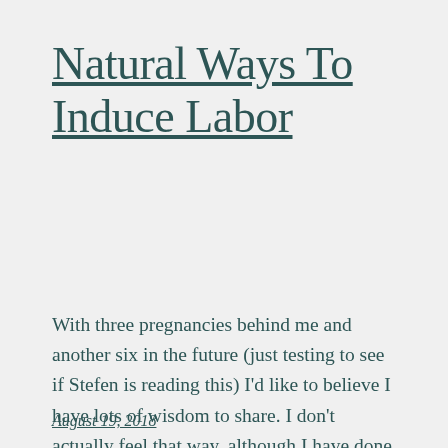Natural Ways To Induce Labor
With three pregnancies behind me and another six in the future (just testing to see if Stefen is reading this) I’d like to believe I have lots of wisdom to share. I don’t actually feel that way, although I have done quite a bit of research on the matter and have tried almost every labor […]
August 19, 2018